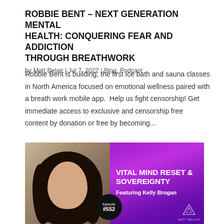ROBBIE BENT – NEXT GENERATION MENTAL HEALTH: CONQUERING FEAR AND ADDICTION THROUGH BREATHWORK
by Matt Belair | Jul 7, 2022 | Blog, Podcast
Robbie Bent is building, the first ice bath and sauna classes in North America focused on emotional wellness paired with a breath work mobile app.  Help us fight censorship! Get immediate access to exclusive and censorship free content by donation or free by becoming...
[Figure (photo): Podcast episode graphic showing a woman with dark curly hair on the left side and purple gradient background on the right with text 'VITAL MIND RESET & SOVEREIGNTY Featuring Kelly Brogan Episode #552' and Matt Belair logo]